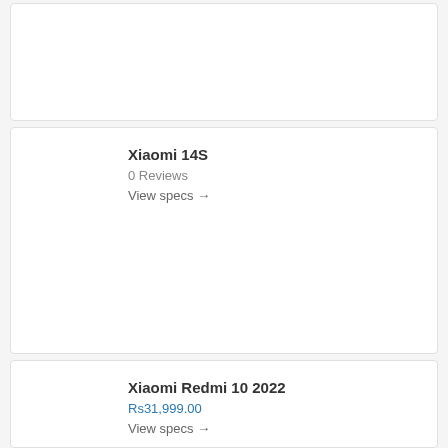Xiaomi 14S
0 Reviews
View specs →
Xiaomi Redmi 10 2022
Rs31,999.00
View specs →